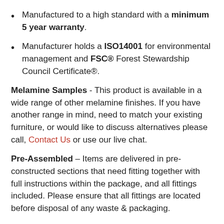Manufactured to a high standard with a minimum 5 year warranty.
Manufacturer holds a ISO14001 for environmental management and FSC® Forest Stewardship Council Certificate®.
Melamine Samples - This product is available in a wide range of other melamine finishes. If you have another range in mind, need to match your existing furniture, or would like to discuss alternatives please call, Contact Us or use our live chat.
Pre-Assembled – Items are delivered in pre-constructed sections that need fitting together with full instructions within the package, and all fittings included. Please ensure that all fittings are located before disposal of any waste & packaging.
Please Be Aware - Your furniture is made to order especially for you and cannot be cancelled once manufacturing has